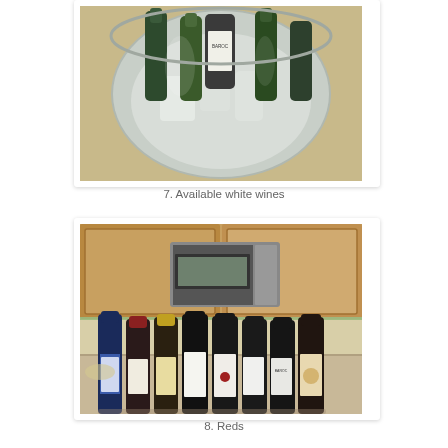[Figure (photo): Overhead view of white wine bottles in a large metal ice bucket with ice bags]
7. Available white wines
[Figure (photo): A row of eight red wine bottles standing on a kitchen counter in front of wooden cabinets and a microwave]
8. Reds